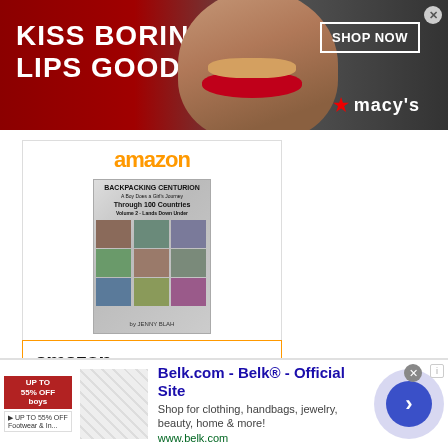[Figure (screenshot): Macy's advertisement banner: dark red background, text 'KISS BORING LIPS GOODBYE', woman's face with red lips, 'SHOP NOW' button, Macy's star logo]
[Figure (screenshot): Amazon product widget showing book 'Backpacking Centurion - A...' priced at $14.40 with Prime, and 'Shop now' button with Amazon logo]
[Figure (screenshot): Second Amazon widget with amazon logo and orange border at bottom]
[Figure (screenshot): Belk.com advertisement at bottom: 'Belk.com - Belk® - Official Site', 'Shop for clothing, handbags, jewelry, beauty, home & more!', www.belk.com, with arrow circle button]